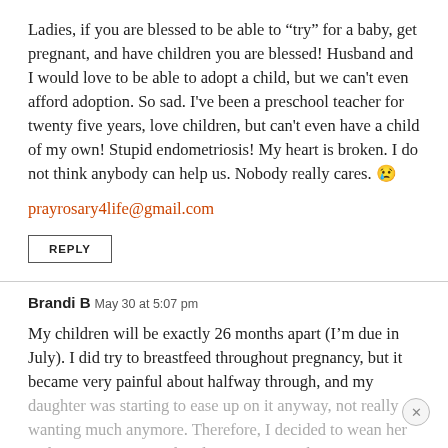Ladies, if you are blessed to be able to “try” for a baby, get pregnant, and have children you are blessed! Husband and I would love to be able to adopt a child, but we can’t even afford adoption. So sad. I’ve been a preschool teacher for twenty five years, love children, but can’t even have a child of my own! Stupid endometriosis! My heart is broken. I do not think anybody can help us. Nobody really cares. 😢
prayrosary4life@gmail.com
REPLY
Brandi B May 30 at 5:07 pm
My children will be exactly 26 months apart (I’m due in July). I did try to breastfeed throughout pregnancy, but it became very painful about halfway through, and my daughter was starting to ease up on it anyway, not really wanting much anymore. Therefore, I decided to wean her and it was very natural and easy. So since her...